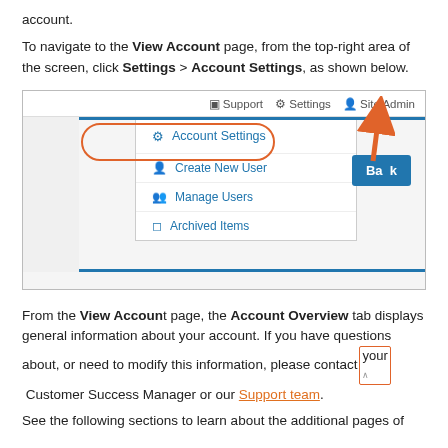account.
To navigate to the View Account page, from the top-right area of the screen, click Settings > Account Settings, as shown below.
[Figure (screenshot): Screenshot of a web application showing a dropdown menu under 'Settings' with options: Account Settings (circled in orange), Create New User, Manage Users, Archived Items. An orange arrow points to the Settings button in the top navigation bar. A 'Back' button is visible in the top-right area of the screen content.]
From the View Account page, the Account Overview tab displays general information about your account. If you have questions about, or need to modify this information, please contact your Customer Success Manager or our Support team.
See the following sections to learn about the additional pages of